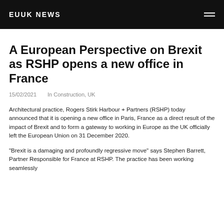EUUK NEWS
A European Perspective on Brexit as RSHP opens a new office in France
15/02/2021    In Construction, UK
Architectural practice, Rogers Stirk Harbour + Partners (RSHP) today announced that it is opening a new office in Paris, France as a direct result of the impact of Brexit and to form a gateway to working in Europe as the UK officially left the European Union on 31 December 2020.
“Brexit is a damaging and profoundly regressive move” says Stephen Barrett, Partner Responsible for France at RSHP. The practice has been working seamlessly